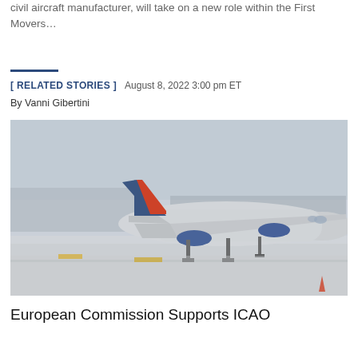civil aircraft manufacturer, will take on a new role within the First Movers…
[ RELATED STORIES ]  August 8, 2022 3:00 pm ET
By Vanni Gibertini
[Figure (photo): An Aeroflot aircraft (large wide-body jet with Russian flag livery on the tail) taxiing or parked on a snowy airport runway/tarmac. The background shows airport buildings and a grey overcast winter sky.]
European Commission Supports ICAO